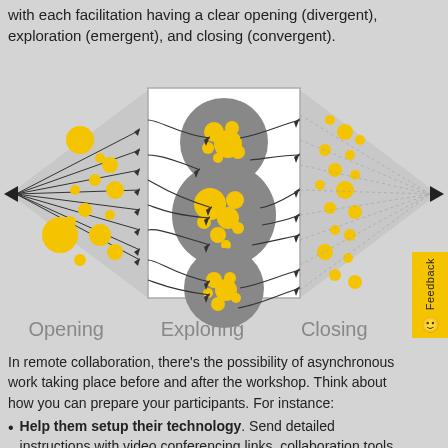with each facilitation having a clear opening (divergent), exploration (emergent), and closing (convergent).
[Figure (infographic): Diamond-shaped facilitation diagram showing three phases: Opening (divergent, left cone with scattered yellow dots), Exploring (center rectangle with three large grey circles containing yellow dots), and Closing (right cone converging with scattered yellow dots). Arrows flow from left point through the diagram to the right point.]
Opening    Exploring    Closing
In remote collaboration, there's the possibility of asynchronous work taking place before and after the workshop. Think about how you can prepare your participants. For instance:
Help them setup their technology. Send detailed instructions with video conferencing links, collaboration tools or documents, set up